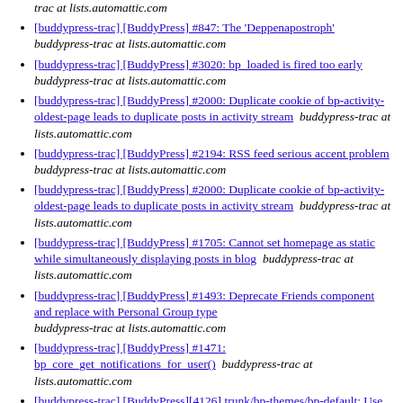trac at lists.automattic.com
[buddypress-trac] [BuddyPress] #847: The 'Deppenapostroph'  buddypress-trac at lists.automattic.com
[buddypress-trac] [BuddyPress] #3020: bp_loaded is fired too early  buddypress-trac at lists.automattic.com
[buddypress-trac] [BuddyPress] #2000: Duplicate cookie of bp-activity-oldest-page leads to duplicate posts in activity stream  buddypress-trac at lists.automattic.com
[buddypress-trac] [BuddyPress] #2194: RSS feed serious accent problem  buddypress-trac at lists.automattic.com
[buddypress-trac] [BuddyPress] #2000: Duplicate cookie of bp-activity-oldest-page leads to duplicate posts in activity stream  buddypress-trac at lists.automattic.com
[buddypress-trac] [BuddyPress] #1705: Cannot set homepage as static while simultaneously displaying posts in blog  buddypress-trac at lists.automattic.com
[buddypress-trac] [BuddyPress] #1493: Deprecate Friends component and replace with Personal Group type  buddypress-trac at lists.automattic.com
[buddypress-trac] [BuddyPress] #1471: bp_core_get_notifications_for_user()  buddypress-trac at lists.automattic.com
[buddypress-trac] [BuddyPress][4126] trunk/bp-themes/bp-default: Use next/ prev post links in single.php.  buddypress-trac at lists.automattic.com